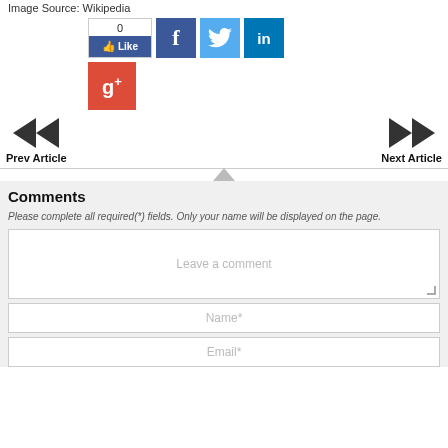Image Source: Wikipedia
[Figure (screenshot): Social sharing buttons: Facebook Like (count 0), Facebook icon, Twitter icon, LinkedIn icon, Google+ icon]
Prev Article
Next Article
Comments
Please complete all required(*) fields. Only your name will be displayed on the page.
Leave a comment
Name*
Email*